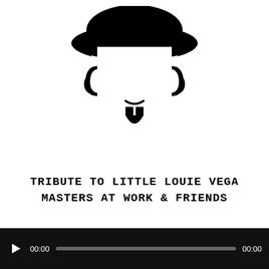[Figure (logo): Stylized black and white icon of a person wearing a wide-brimmed hat with facial hair (goatee/mustache), depicted in minimal flat design style]
TRIBUTE TO LITTLE LOUIE VEGA
MASTERS AT WORK & FRIENDS
[Figure (screenshot): Audio player bar with play button, 00:00 time display on left, gray progress track, and 00:00 time display on right, on black background]